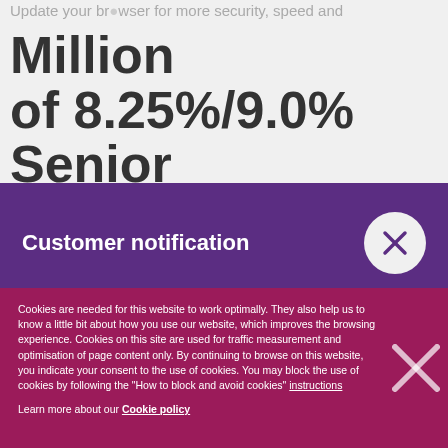Update your browser for more security, speed and
Million of 8.25%/9.0% Senior PIK/Toggle
Customer notification
We would like to notify our Ostomy Product Users of a visually-detectable problem potentially affecting specific convex two-piece skin barriers manufactured from February 2017 to September 2018, where the starter hole (stoma hole) may be off-centre.
Cookies are needed for this website to work optimally. They also help us to know a little bit about how you use our website, which improves the browsing experience. Cookies on this site are used for traffic measurement and optimisation of page content only. By continuing to browse on this website, you indicate your consent to the use of cookies. You may block the use of cookies by following the "How to block and avoid cookies" instructions
Learn more about our Cookie policy